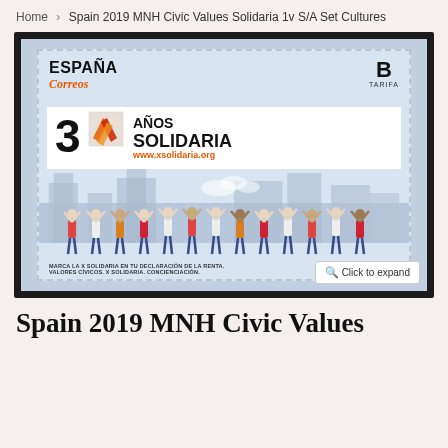Home > Spain 2019 MNH Civic Values Solidaria 1v S/A Set Cultures
[Figure (photo): Photo of a Spanish postage stamp from 2019. The stamp features 'ESPAÑA Correos' at top left, 'B TARIFA' at top right, a white banner with '30 AÑOS SOLIDARIA www.xsolidaria.org' logo, illustrated people figures holding arms up, and text 'MARCA LA X SOLIDARIA EN TU DECLARACIÓN DE LA RENTA. VALORES CÍVICOS. X SOLIDARIA. CONCIENCIACIÓN.' at the bottom. A 'Click to expand' button is overlaid at bottom right.]
Spain 2019 MNH Civic Values